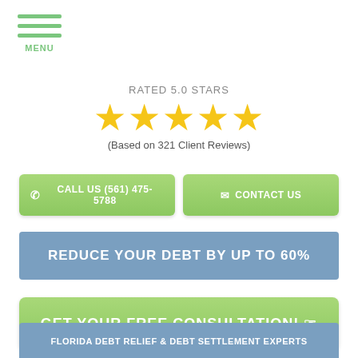[Figure (other): Hamburger menu icon with three green horizontal bars and MENU label below]
RATED 5.0 STARS
[Figure (other): Five gold star rating icons]
(Based on 321 Client Reviews)
CALL US (561) 475-5788
CONTACT US
REDUCE YOUR DEBT BY UP TO 60%
GET YOUR FREE CONSULTATION! ☞
FLORIDA DEBT RELIEF & DEBT SETTLEMENT EXPERTS